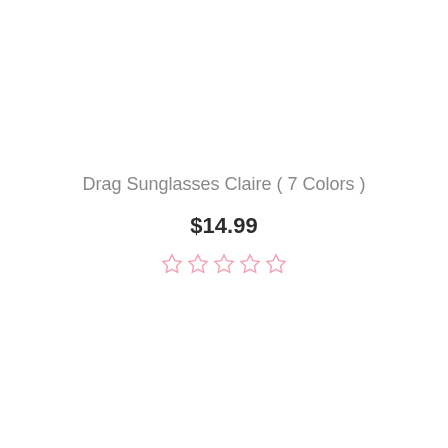Drag Sunglasses Claire ( 7 Colors )
$14.99
[Figure (other): Five empty pink star rating icons indicating no reviews yet]